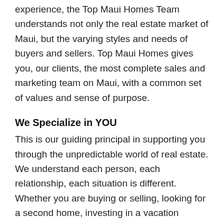experience, the Top Maui Homes Team understands not only the real estate market of Maui, but the varying styles and needs of buyers and sellers. Top Maui Homes gives you, our clients, the most complete sales and marketing team on Maui, with a common set of values and sense of purpose.
We Specialize in YOU
This is our guiding principal in supporting you through the unpredictable world of real estate. We understand each person, each relationship, each situation is different. Whether you are buying or selling, looking for a second home, investing in a vacation property, participating in a 1031 exchange, or finding a dream home on Maui, you bring your